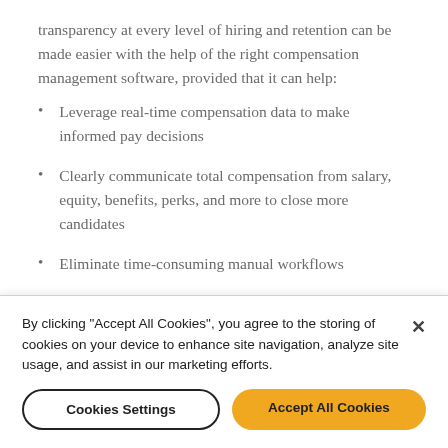transparency at every level of hiring and retention can be made easier with the help of the right compensation management software, provided that it can help:
Leverage real-time compensation data to make informed pay decisions
Clearly communicate total compensation from salary, equity, benefits, perks, and more to close more candidates
Eliminate time-consuming manual workflows
By clicking "Accept All Cookies", you agree to the storing of cookies on your device to enhance site navigation, analyze site usage, and assist in our marketing efforts.